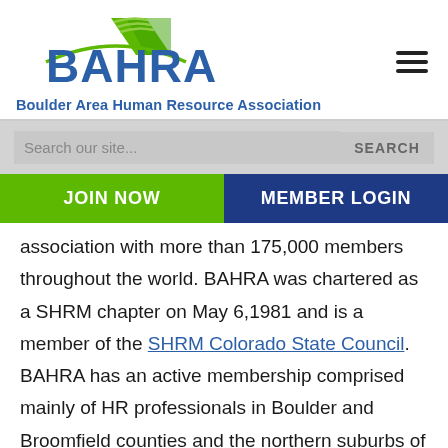[Figure (logo): BAHRA logo with green mountain/flag icon and blue BAHRA text, with tagline Boulder Area Human Resource Association]
Search our site...
SEARCH
JOIN NOW
MEMBER LOGIN
association with more than 175,000 members throughout the world. BAHRA was chartered as a SHRM chapter on May 6,1981 and is a member of the SHRM Colorado State Council.  BAHRA has an active membership comprised mainly of HR professionals in Boulder and Broomfield counties and the northern suburbs of the Denver